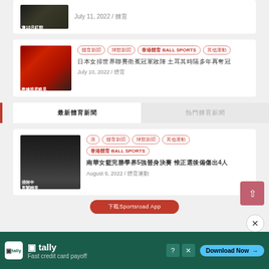[Figure (photo): Thumbnail image with Chinese text overlay, yellow/dark background, showing '10月紅館' text]
July 11, 2022 / 體育
[Figure (photo): Sports team photo, players celebrating, Chinese text '教練班底略見']
Tags: 體育新聞 球類新聞 香港體育 BALL SPORTS 其他運動
日本女排世界聯賽衛冕冠軍敗陣 土耳其時隔多年再奪冠
July 10, 2022 / 體育
最新體育新聞
熱門體育新聞
[Figure (photo): Female athlete photo with Chinese text '浸附中' and '直闖精英']
Tags: 港 體育新聞 球類新聞 其他運動 香港體育 BALL SPORTS
南華女籃完勝學界5強晉身決賽 惟正選後備傷出4人
August 9, 2022 / 體育運動
[Figure (screenshot): Red button partially visible at bottom: 下載Sportsroad App]
[Figure (photo): Advertisement banner: tally app - Fast credit card payoff, Download Now button]